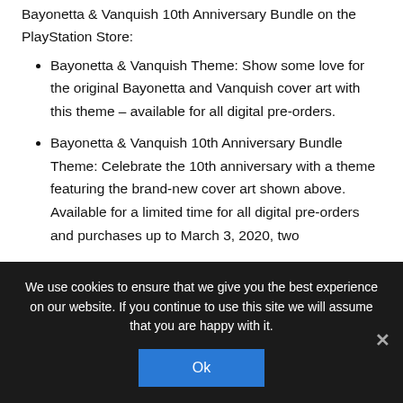Bayonetta & Vanquish 10th Anniversary Bundle on the PlayStation Store:
Bayonetta & Vanquish Theme: Show some love for the original Bayonetta and Vanquish cover art with this theme – available for all digital pre-orders.
Bayonetta & Vanquish 10th Anniversary Bundle Theme: Celebrate the 10th anniversary with a theme featuring the brand-new cover art shown above. Available for a limited time for all digital pre-orders and purchases up to March 3, 2020, two
We use cookies to ensure that we give you the best experience on our website. If you continue to use this site we will assume that you are happy with it.